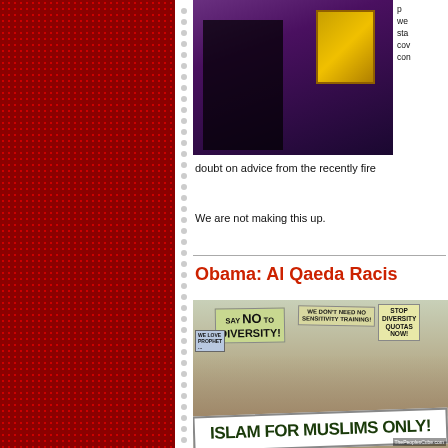[Figure (photo): Person in dark clothing holding a golden book or object against purple background]
we sta cov con doubt on advice from the recently fire
We are not making this up.
Obama: Al Qaeda Racis
[Figure (photo): Protest photo showing people holding signs: SAY NO TO DIVERSITY!, WE DON'T NEED NO SENSITIVITY TRAINING!, STOP DIVERSITY QUOTAS NOW!, WE LOVE PROPHET, with a large banner reading ISLAM FOR MUSLIMS ONLY!. Watermark: ThePeoplesCube.com]